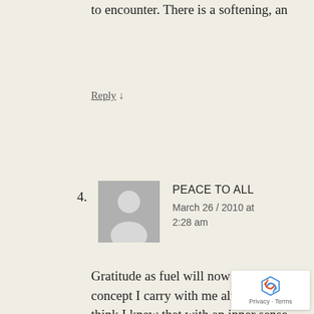to encounter. There is a softening, an
Reply ↓
4.
[Figure (illustration): Generic user avatar — grey silhouette of a person on grey background]
PEACE TO ALL
March 26 / 2010 at 2:28 am
Gratitude as fuel will now be a concept I carry with me always. I think I knew that with an inner sense with Beauty and Love, and now I understand so much more about my life choices. To take gratitude as a deep form of receiving sustenance, nurturance, and renewal, the